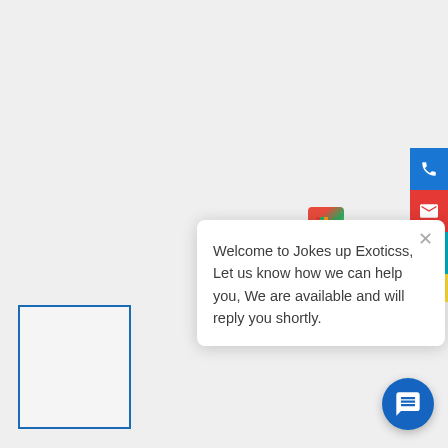[Figure (screenshot): Website screenshot showing a gray background page with a blue-outlined placeholder box in the bottom left, a chat popup widget in the center-right displaying a welcome message from Jokes up Exoticss, colored contact buttons on the right edge (blue phone, red email, teal, yellow), and a blue circular chat button in the bottom right corner.]
Welcome to Jokes up Exoticss, Let us know how we can help you, We are available and will reply you shortly.